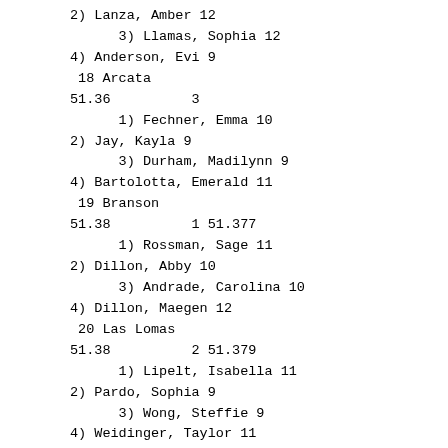2) Lanza, Amber 12
3) Llamas, Sophia 12
4) Anderson, Evi 9
18 Arcata
51.36          3
1) Fechner, Emma 10
2) Jay, Kayla 9
3) Durham, Madilynn 9
4) Bartolotta, Emerald 11
19 Branson
51.38          1 51.377
1) Rossman, Sage 11
2) Dillon, Abby 10
3) Andrade, Carolina 10
4) Dillon, Maegen 12
20 Las Lomas
51.38          2 51.379
1) Lipelt, Isabella 11
2) Pardo, Sophia 9
3) Wong, Steffie 9
4) Weidinger, Taylor 11
21 Marin Academy